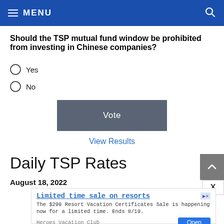MENU
Should the TSP mutual fund window be prohibited from investing in Chinese companies?
Yes
No
Vote
View Results
Daily TSP Rates
August 18, 2022
[Figure (other): Advertisement: Limited time sale on resorts. The $299 Resort Vacation Certificates Sale is happening now for a limited time. Ends 8/19. Heroes Vacation Club. Open button.]